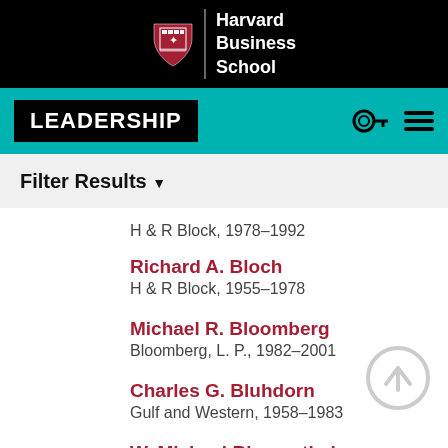[Figure (logo): Harvard Business School logo with shield crest and name on black background]
LEADERSHIP
Filter Results ▾
H & R Block, 1978–1992
Richard A. Bloch
H & R Block, 1955–1978
Michael R. Bloomberg
Bloomberg, L. P., 1982–2001
Charles G. Bluhdorn
Gulf and Western, 1958–1983
W. Michael Blumenthal
Bendix Corporation, 1967–1976